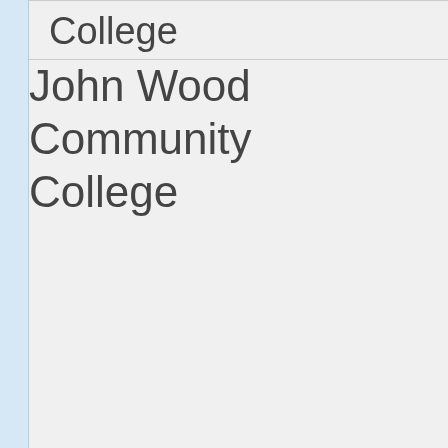| College | Resources |
| --- | --- |
| College |  |
| John Wood Community College | BUY 1ST CARE (ATHLETES ON...
1ST CARE OUTLINE ON... |
| Kellogg Community College | BUY 1ST CARE (ATHLETES ON...
1ST CARE OUTLINE ON... |